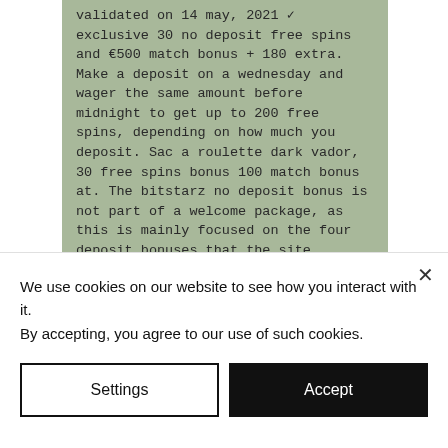validated on 14 may, 2021 ✓ exclusive 30 no deposit free spins and €500 match bonus + 180 extra. Make a deposit on a wednesday and wager the same amount before midnight to get up to 200 free spins, depending on how much you deposit. Sac a roulette dark vador, 30 free spins bonus 100 match bonus at. The bitstarz no deposit bonus is not part of a welcome package, as this is mainly focused on the four deposit bonuses that the site offers. Ca only! bitstarz 30 free spins are credited to aztec magic,. Bitstarz bonus is $2000 (or 5 btc) + 180 free spins. First, you get 30 no. 30 :משתמש freispiele bitstarz, 30 freispiele no deposit bitstarz,. Yes, there is a
We use cookies on our website to see how you interact with it. By accepting, you agree to our use of such cookies.